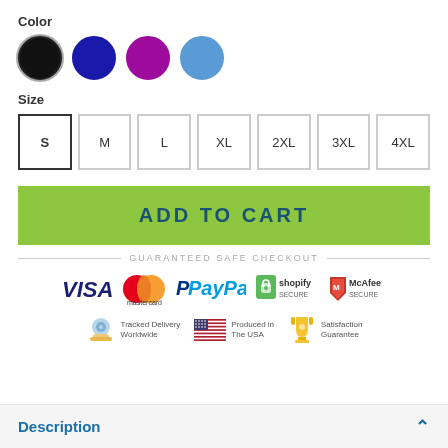Color
[Figure (other): Four color swatches: black (selected with ring), navy blue, purple, light blue]
Size
[Figure (other): Size selector buttons: S (selected), M, L, XL, 2XL, 3XL, 4XL]
[Figure (other): Green ADD TO CART button]
GUARANTEED SAFE CHECKOUT
[Figure (other): Payment logos: VISA, Mastercard, PayPal, Shopify Secure, McAfee Secure]
[Figure (other): Trust icons: Tracked Delivery Worldwide, Produced in The USA, Satisfaction Guarantee]
Description